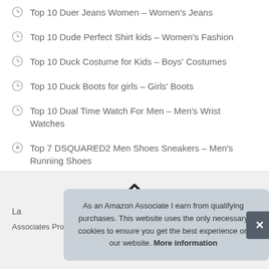Top 10 Duer Jeans Women – Women's Jeans
Top 10 Dude Perfect Shirt kids – Women's Fashion
Top 10 Duck Costume for Kids – Boys' Costumes
Top 10 Duck Boots for girls – Girls' Boots
Top 10 Dual Time Watch For Men – Men's Wrist Watches
Top 7 DSQUARED2 Men Shoes Sneakers – Men's Running Shoes
As an Amazon Associate I earn from qualifying purchases. This website uses the only necessary cookies to ensure you get the best experience on our website. More information
La
Associates Program, an affiliate advertising program designed